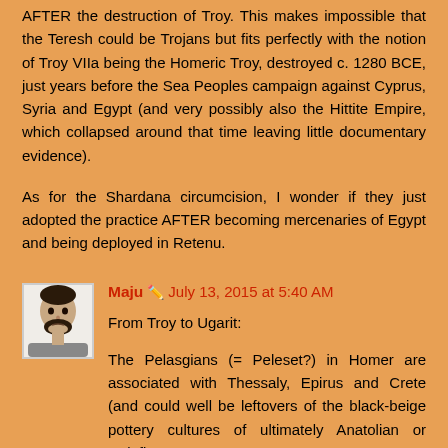AFTER the destruction of Troy. This makes impossible that the Teresh could be Trojans but fits perfectly with the notion of Troy VIIa being the Homeric Troy, destroyed c. 1280 BCE, just years before the Sea Peoples campaign against Cyprus, Syria and Egypt (and very possibly also the Hittite Empire, which collapsed around that time leaving little documentary evidence).
As for the Shardana circumcision, I wonder if they just adopted the practice AFTER becoming mercenaries of Egypt and being deployed in Retenu.
Maju  July 13, 2015 at 5:40 AM
From Troy to Ugarit:
The Pelasgians (= Peleset?) in Homer are associated with Thessaly, Epirus and Crete (and could well be leftovers of the black-beige pottery cultures of ultimately Anatolian or Halafian roots.